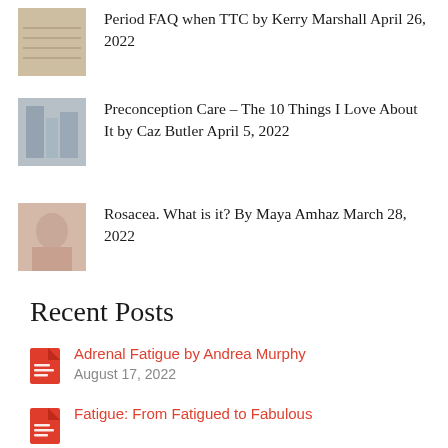Period FAQ when TTC by Kerry Marshall April 26, 2022
Preconception Care – The 10 Things I Love About It by Caz Butler April 5, 2022
Rosacea. What is it? By Maya Amhaz March 28, 2022
Recent Posts
Adrenal Fatigue by Andrea Murphy August 17, 2022
Fatigue: From Fatigued to Fabulous